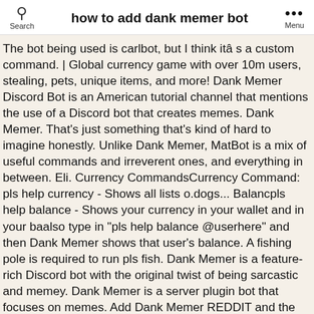how to add dank memer bot
The bot being used is carlbot, but I think itâs a custom command. | Global currency game with over 10m users, stealing, pets, unique items, and more! Dank Memer Discord Bot is an American tutorial channel that mentions the use of a Discord bot that creates memes. Dank Memer. That's just something that's kind of hard to imagine honestly. Unlike Dank Memer, MatBot is a mix of useful commands and irreverent ones, and everything in between. Eli. Currency CommandsCurrency Command: pls help currency - Shows all lists o.dogs... Balancpls help balance - Shows your currency in your wallet and in your baalso type in "pls help balance @userhere" and then Dank Memer shows that user's balance. A fishing pole is required to run pls fish. Dank Memer is a feature-rich Discord bot with the original twist of being sarcastic and memey. Dank Memer is a server plugin bot that focuses on memes. Add Dank Memer REDDIT and the ALIEN Logo are registered trademarks of reddit inc. π Rendered